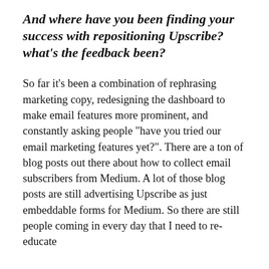And where have you been finding your success with repositioning Upscribe? what's the feedback been?
So far it's been a combination of rephrasing marketing copy, redesigning the dashboard to make email features more prominent, and constantly asking people "have you tried our email marketing features yet?". There are a ton of blog posts out there about how to collect email subscribers from Medium. A lot of those blog posts are still advertising Upscribe as just embeddable forms for Medium. So there are still people coming in every day that I need to re-educate